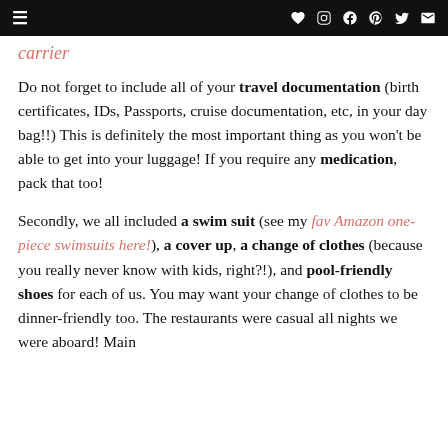≡  ♥ instagram facebook pinterest twitter mail
carrier
Do not forget to include all of your travel documentation (birth certificates, IDs, Passports, cruise documentation, etc, in your day bag!!) This is definitely the most important thing as you won't be able to get into your luggage! If you require any medication, pack that too!
Secondly, we all included a swim suit (see my fav Amazon one-piece swimsuits here!), a cover up, a change of clothes (because you really never know with kids, right?!), and pool-friendly shoes for each of us. You may want your change of clothes to be dinner-friendly too. The restaurants were casual all nights we were aboard! Main